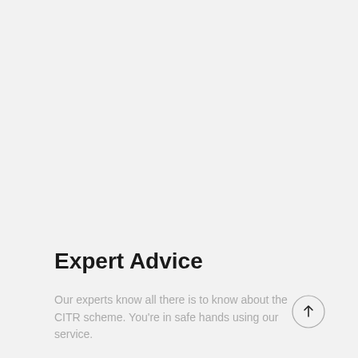Expert Advice
Our experts know all there is to know about the CITR scheme. You're in safe hands using our service.